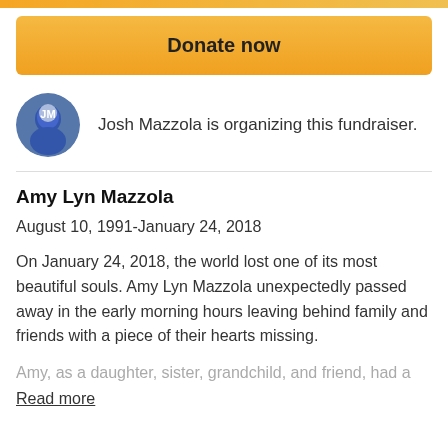[Figure (other): Orange gradient top bar strip]
Donate now
[Figure (photo): Circular avatar photo of Josh Mazzola, a man in a blue sports jersey]
Josh Mazzola is organizing this fundraiser.
Amy Lyn Mazzola
August 10, 1991-January 24, 2018
On January 24, 2018, the world lost one of its most beautiful souls. Amy Lyn Mazzola unexpectedly passed away in the early morning hours leaving behind family and friends with a piece of their hearts missing.
Amy, as a daughter, sister, grandchild, and friend, had a
Read more